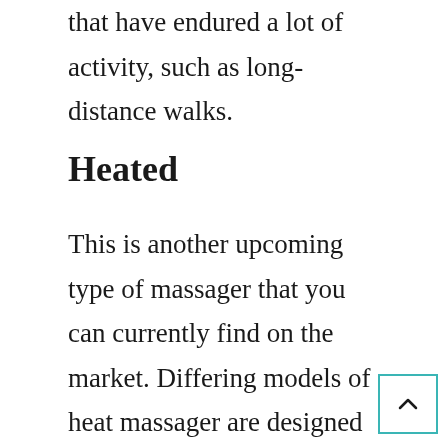that have endured a lot of activity, such as long-distance walks.
Heated
This is another upcoming type of massager that you can currently find on the market. Differing models of heat massager are designed to radiate varying amounts of heat. Some produce a mild, warm sensation while others radiate so much heat that people suffering with a loss of sensation in their feet should probably